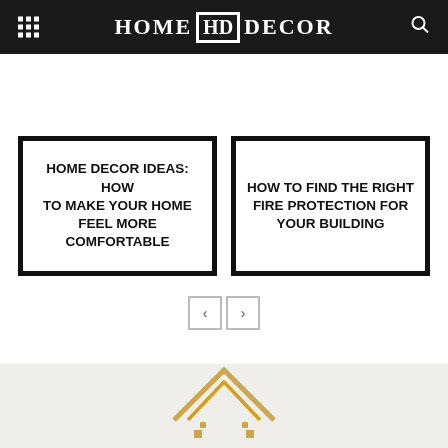HOME HD DECOR
HOME DECOR IDEAS: HOW TO MAKE YOUR HOME FEEL MORE COMFORTABLE
HOW TO FIND THE RIGHT FIRE PROTECTION FOR YOUR BUILDING
[Figure (logo): Gold house rooftop logo icon at the bottom of the page]
[Figure (infographic): Navigation previous and next arrow buttons]